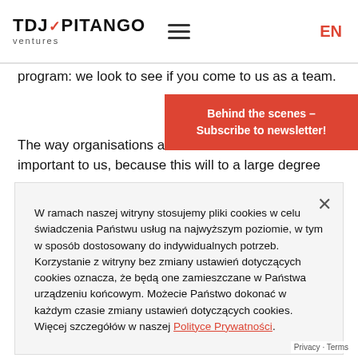TDJ PITANGO ventures | [hamburger menu] | EN
program: we look to see if you come to us as a team.
[Figure (infographic): Red newsletter subscription banner: 'Behind the scenes - Subscribe to newsletter!']
The way organisations are m... important to us, because this will to a large degree
W ramach naszej witryny stosujemy pliki cookies w celu świadczenia Państwu usług na najwyższym poziomie, w tym w sposób dostosowany do indywidualnych potrzeb. Korzystanie z witryny bez zmiany ustawień dotyczących cookies oznacza, że będą one zamieszczane w Państwa urządzeniu końcowym. Możecie Państwo dokonać w każdym czasie zmiany ustawień dotyczących cookies. Więcej szczegółów w naszej Polityce Prywatności.
a tightly functioning team when every other d... struggle in an authoritarian workplace culture, which